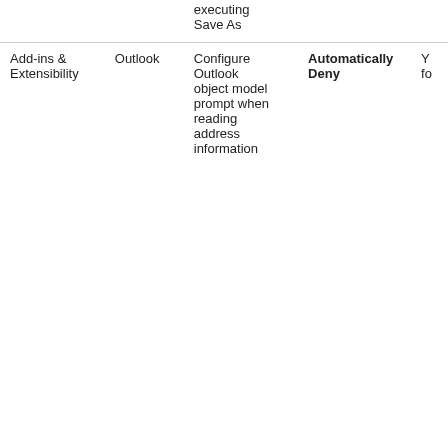|  |  | executing
Save As |  |  |
| Add-ins & Extensibility | Outlook | Configure Outlook object model prompt when reading address information | Automatically Deny | Y
fo |